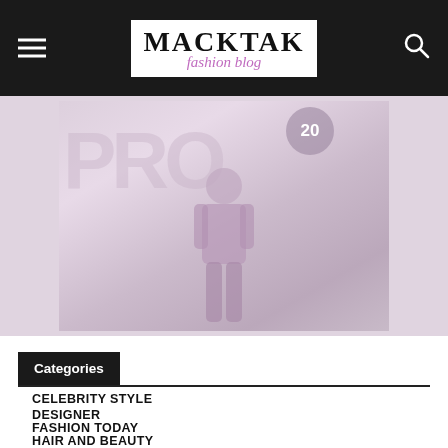MACKTAK fashion blog
[Figure (photo): Fashion blog hero image showing a figure in purple/lavender outfit with PRO text overlay and number badge]
Categories
CELEBRITY STYLE
DESIGNER
FASHION TODAY
HAIR AND BEAUTY
MackTak CEO
Uncategorized